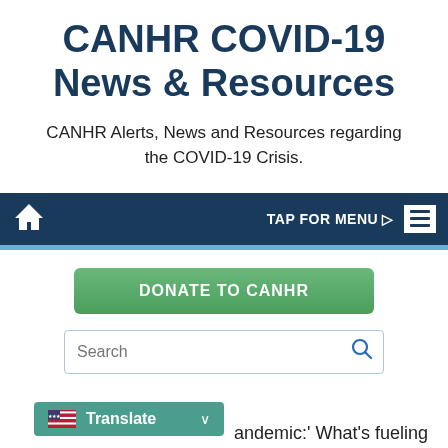CANHR COVID-19 News & Resources
CANHR Alerts, News and Resources regarding the COVID-19 Crisis.
[Figure (screenshot): Navigation bar with home icon on left, TAP FOR MENU with arrow and hamburger menu icon on right, dark navy background]
[Figure (screenshot): Green donate button labeled DONATE TO CANHR]
[Figure (screenshot): Search input box with magnifying glass icon]
[Figure (screenshot): Translate dropdown button with US flag icon and chevron]
andemic:' What's fueling